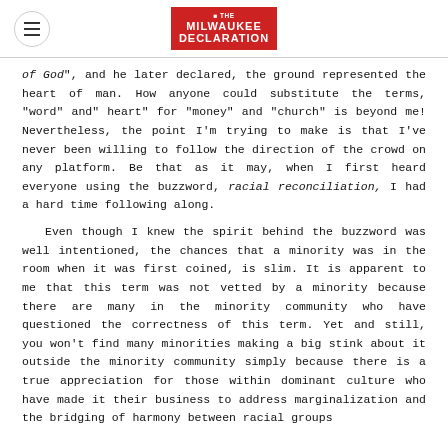Milwaukee Declaration
of God", and he later declared, the ground represented the heart of man. How anyone could substitute the terms, “word” and” heart” for “money” and “church” is beyond me! Nevertheless, the point I’m trying to make is that I’ve never been willing to follow the direction of the crowd on any platform. Be that as it may, when I first heard everyone using the buzzword, racial reconciliation, I had a hard time following along.
Even though I knew the spirit behind the buzzword was well intentioned, the chances that a minority was in the room when it was first coined, is slim. It is apparent to me that this term was not vetted by a minority because there are many in the minority community who have questioned the correctness of this term. Yet and still, you won’t find many minorities making a big stink about it outside the minority community simply because there is a true appreciation for those within dominant culture who have made it their business to address marginalization and the bridging of harmony between racial groups